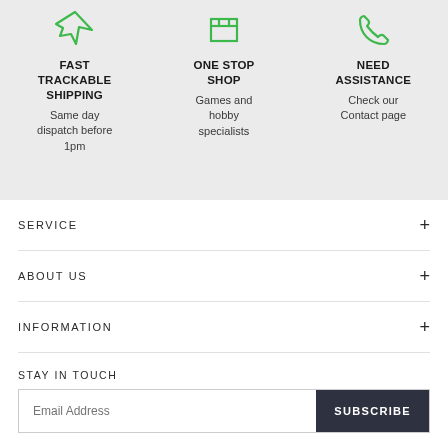[Figure (illustration): Green airplane/shipping icon]
FAST TRACKABLE SHIPPING
Same day dispatch before 1pm
[Figure (illustration): Green box/package icon]
ONE STOP SHOP
Games and hobby specialists
[Figure (illustration): Green phone/assistance icon]
NEED ASSISTANCE
Check our Contact page
SERVICE
ABOUT US
INFORMATION
STAY IN TOUCH